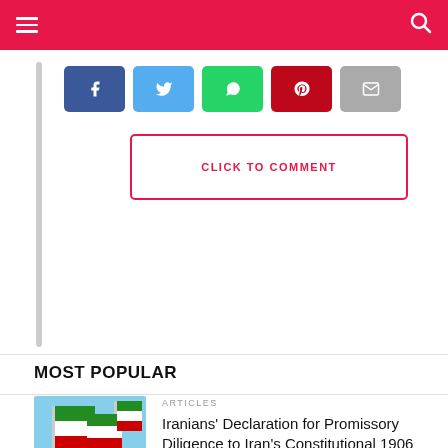Navigation header with hamburger menu and search icon
[Figure (infographic): Social share buttons: Facebook (blue), Twitter (light blue), WhatsApp (green), Pinterest (red), Email (gray)]
CLICK TO COMMENT
MOST POPULAR
[Figure (photo): Iranian flags on poles against blue sky]
ARTICLES
Iranians' Declaration for Promissory Diligence to Iran's Constitutional 1906 Movement
[Figure (photo): Iranian flags on poles against blue sky]
HOT TOPICS
Join the #WhiteRevolution: Iranians Call for Unity